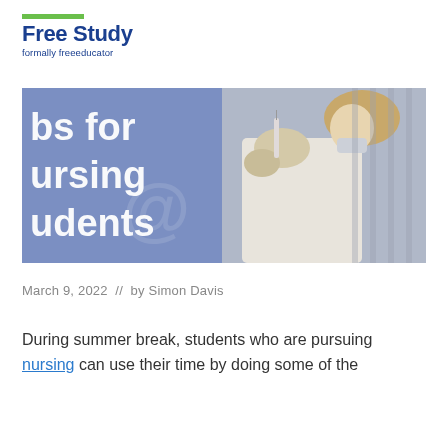Free Study — formally freeeducator
[Figure (photo): Partial banner image showing text 'bs for nursing students' on a blue-purple background overlaid on a photo of a nurse in white coat and gloves holding a syringe or medical instrument]
March 9, 2022  //  by Simon Davis
During summer break, students who are pursuing nursing can use their time by doing some of the